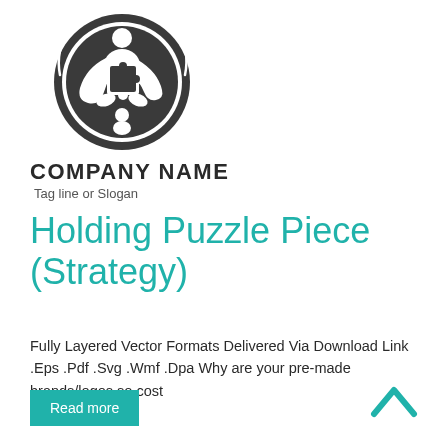[Figure (logo): Circular logo with a stylized figure holding a puzzle piece, dark gray/charcoal color scheme]
COMPANY NAME
Tag line or Slogan
Holding Puzzle Piece (Strategy)
Fully Layered Vector Formats Delivered Via Download Link .Eps .Pdf .Svg .Wmf .Dpa Why are your pre-made brands/logos so cost
Read more